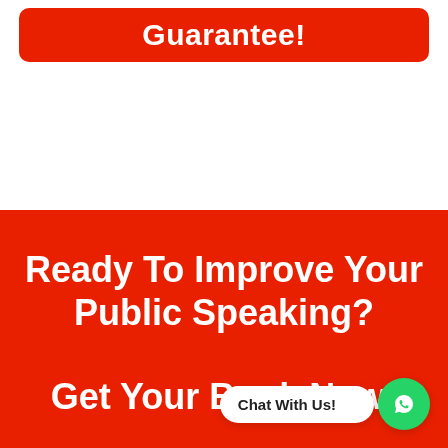Guarantee!
Ready To Improve Your Public Speaking? Get Your Book Now!
Chat With Us!